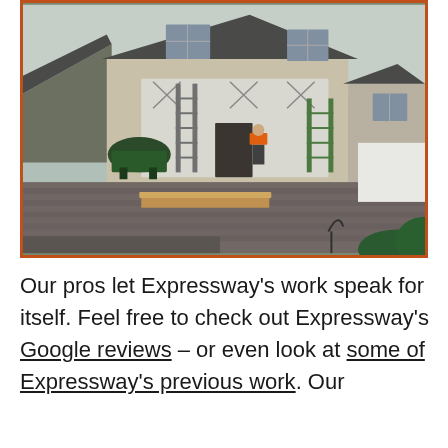[Figure (photo): Construction workers working on the exterior siding of a two-story residential house. A worker in an orange vest stands on the ground near ladders and scaffolding. The front area has a stone/brick patio. Green shrubs and trees visible in background.]
Our pros let Expressway's work speak for itself. Feel free to check out Expressway's Google reviews – or even look at some of Expressway's previous work. Our